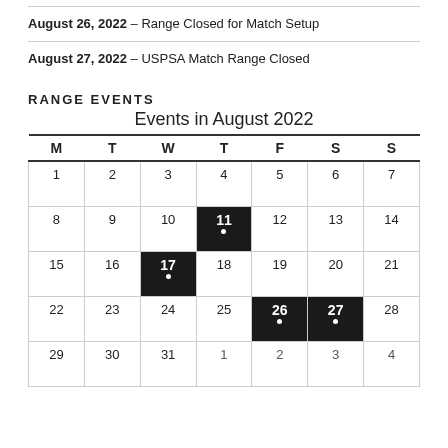August 26, 2022 – Range Closed for Match Setup
August 27, 2022 – USPSA Match Range Closed
RANGE EVENTS
[Figure (other): August 2022 calendar showing events on August 11, 17, 26, and 27 highlighted with dark backgrounds and dots.]